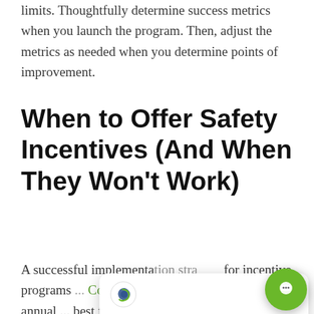limits. Thoughtfully determine success metrics when you launch the program. Then, adjust the metrics as needed when you determine points of improvement.
When to Offer Safety Incentives (And When They Won't Work)
A successful implementation strategy for incentive programs ... Common choices for ... quarterly or annual ... best for your fleet, you may need to consider the types of jobs you offer. Will your incentive program be effective for both local and regional